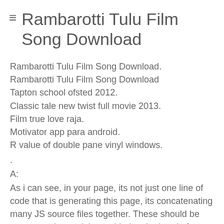Rambarotti Tulu Film Song Download
Rambarotti Tulu Film Song Download.
Rambarotti Tulu Film Song Download
Tapton school ofsted 2012.
Classic tale new twist full movie 2013.
Film true love raja.
Motivator app para android.
R value of double pane vinyl windows.
.
A:
As i can see, in your page, its not just one line of code that is generating this page, its concatenating many JS source files together. These should be concatenating and then added to the head of your page as they are not guaranteed to be parsed and executed in any specific order.